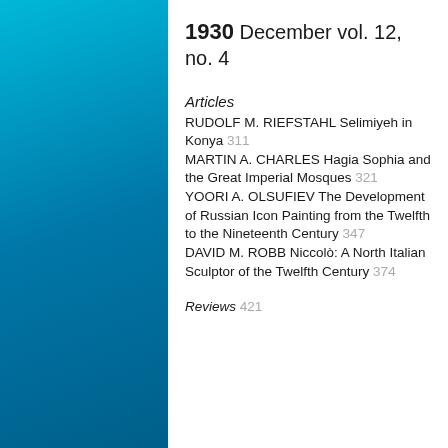1930 December vol. 12, no. 4
Articles
RUDOLF M. RIEFSTAHL Selimiyeh in Konya 311
MARTIN A. CHARLES Hagia Sophia and the Great Imperial Mosques 321
YOORI A. OLSUFIEV The Development of Russian Icon Painting from the Twelfth to the Nineteenth Century 347
DAVID M. ROBB Niccolò: A North Italian Sculptor of the Twelfth Century 374
Reviews 421